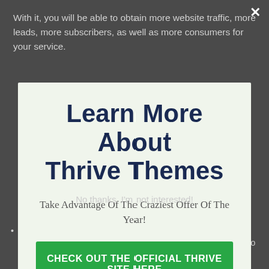With it, you will be able to obtain more website traffic, more leads, more subscribers, as well as more consumers for your service.
Learn More About Thrive Themes
Take Advantage Of The Craziest Offer Of The Year!
CHECK OUT THE OFFICIAL THRIVE SITE HERE
No thanks, I'm not interested!
Free training: They've created Thrive College, which teems with courses where you can find out everything you require to know about exactly how to use each of the tools.